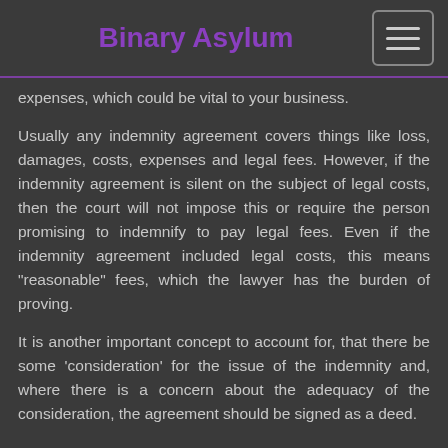Binary Asylum
expenses, which could be vital to your business.
Usually any indemnity agreement covers things like loss, damages, costs, expenses and legal fees. However, if the indemnity agreement is silent on the subject of legal costs, then the court will not impose this or require the person promising to indemnify to pay legal fees. Even if the indemnity agreement included legal costs, this means "reasonable" fees, which the lawyer has the burden of proving.
It is another important concept to account for, that there be some ‘consideration’ for the issue of the indemnity and, where there is a concern about the adequacy of the consideration, the agreement should be signed as a deed.